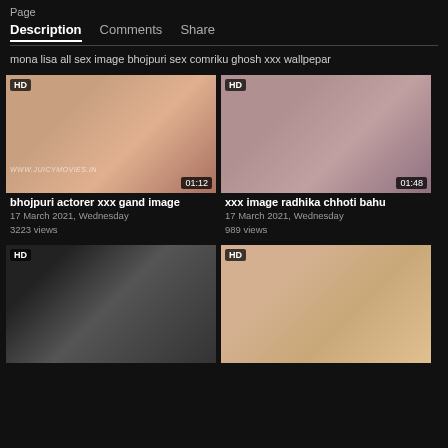Description   Comments   Share
mona lisa all sex image bhojpuri sex comriku ghosh xxx wallpepar
[Figure (screenshot): Video thumbnail HD - bhojpuri actorer xxx gand image, 01:12 duration]
bhojpuri actorer xxx gand image
17 March 2021, Wednesday
3223 views
[Figure (screenshot): Video thumbnail HD - xxx image radhika chhoti bahu, 01:48 duration]
xxx image radhika chhoti bahu
17 March 2021, Wednesday
989 views
[Figure (screenshot): Video thumbnail HD - bottom left video]
[Figure (screenshot): Video thumbnail HD - bottom right video]